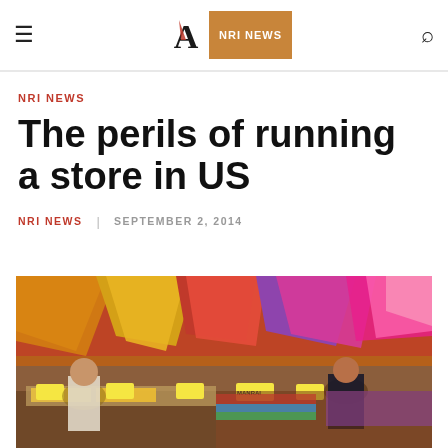≡  A  NRI NEWS  🔍
NRI NEWS
The perils of running a store in US
NRI NEWS  |  SEPTEMBER 2, 2014
[Figure (photo): Colorful Indian textile/fabric store with women browsing vibrant draped saris and fabrics in orange, red, magenta, yellow. Yellow sale price tags visible. Women in foreground and background shopping.]